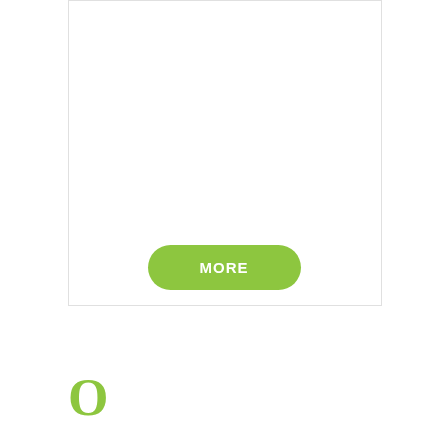[Figure (other): White rectangular card area with border]
[Figure (other): Green pill-shaped button with white text reading MORE]
[Figure (logo): Green letter O logo mark]